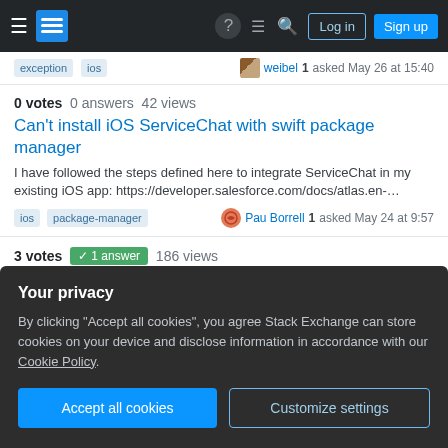Stack Exchange navigation bar with Log in and Sign up buttons
0 votes  0 answers  42 views — Can't install iOS ServiceChat with swift package manager — I have followed the steps defined here to integrate ServiceChat in my existing iOS app: https://developer.salesforce.com/docs/atlas.en-... — tags: ios, package-manager — Pau Borrell 1 asked May 24 at 9:57
3 votes  1 answer  186 views — Unable to login due to missing access token parameter for Identity Service – iOS
Your privacy — By clicking "Accept all cookies", you agree Stack Exchange can store cookies on your device and disclose information in accordance with our Cookie Policy. — [Accept all cookies] [Customize settings]